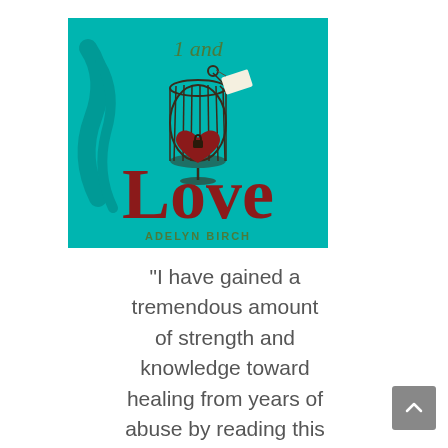[Figure (illustration): Book cover for 'I and Love' by Adelyn Birch. Teal/turquoise background with a birdcage containing a heart with a lock, a key hanging above, and a small tag. Large red serif text reads 'Love' and olive green italic text reads '1 and' at the top. Author name 'ADELYN BIRCH' in small olive green caps at the bottom.]
"I have gained a tremendous amount of strength and knowledge toward healing from years of abuse by reading this book. One of the best."